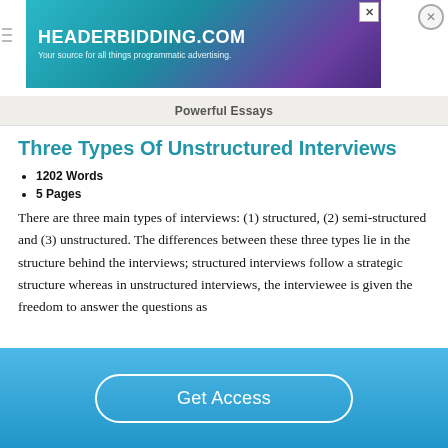[Figure (screenshot): HEADERBIDDING.COM advertisement banner — teal/purple gradient background with white bold text reading HEADERBIDDING.COM and subtitle Your source for all things programmatic advertising.]
Powerful Essays
Three Types Of Unstructured Interviews
1202 Words
5 Pages
There are three main types of interviews: (1) structured, (2) semi-structured and (3) unstructured. The differences between these three types lie in the structure behind the interviews; structured interviews follow a strategic structure whereas in unstructured interviews, the interviewee is given the freedom to answer the questions as
Get Access